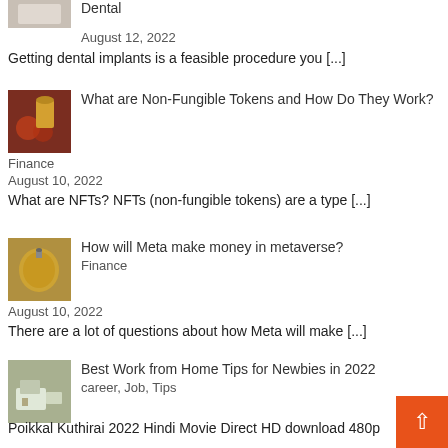[Figure (photo): Thumbnail image for dental article]
Dental
August 12, 2022
Getting dental implants is a feasible procedure you [...]
[Figure (photo): Thumbnail image for NFT article — hand holding coin near casino chips]
What are Non-Fungible Tokens and How Do They Work?
Finance
August 10, 2022
What are NFTs? NFTs (non-fungible tokens) are a type [...]
[Figure (photo): Thumbnail image for Meta metaverse article — gold clock]
How will Meta make money in metaverse?
Finance
August 10, 2022
There are a lot of questions about how Meta will make [...]
[Figure (photo): Thumbnail image for work from home article — person at desk]
Best Work from Home Tips for Newbies in 2022
career, Job, Tips
August 6, 2022
It is the dream of every jobholder to get freedom in [...]
Poikkal Kuthirai 2022 Hindi Movie Direct HD download 480p